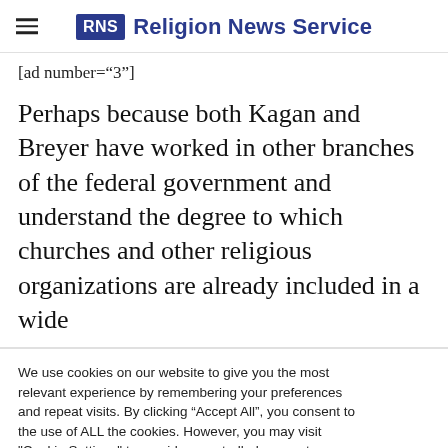RNS Religion News Service
[ad number="3"]
Perhaps because both Kagan and Breyer have worked in other branches of the federal government and understand the degree to which churches and other religious organizations are already included in a wide
We use cookies on our website to give you the most relevant experience by remembering your preferences and repeat visits. By clicking "Accept All", you consent to the use of ALL the cookies. However, you may visit "Cookie Settings" to provide a controlled consent.
Cookie Settings | Accept All